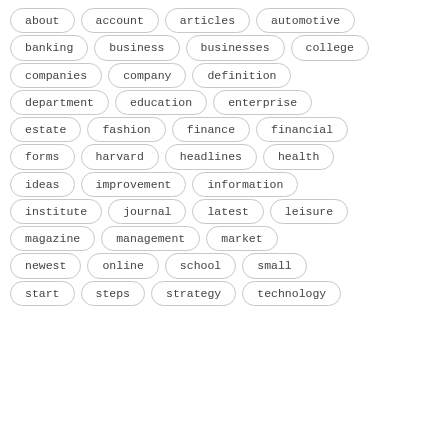about
account
articles
automotive
banking
business
businesses
college
companies
company
definition
department
education
enterprise
estate
fashion
finance
financial
forms
harvard
headlines
health
ideas
improvement
information
institute
journal
latest
leisure
magazine
management
market
newest
online
school
small
start
steps
strategy
technology